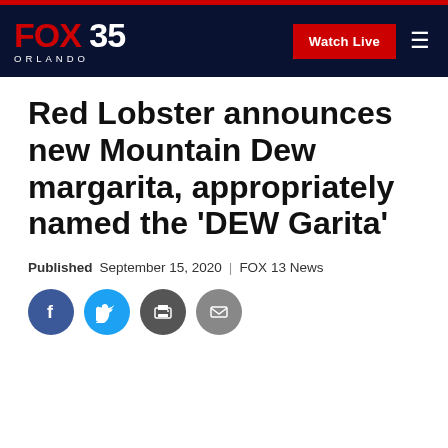FOX 35 ORLANDO | Watch Live
Red Lobster announces new Mountain Dew margarita, appropriately named the 'DEW Garita'
Published September 15, 2020 | FOX 13 News
[Figure (illustration): Social sharing icons: Facebook, Twitter, Print, Email]